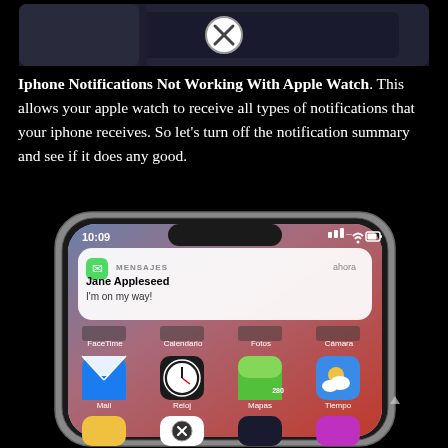[Figure (screenshot): Top portion of an iPhone or Apple Watch device with a close/dismiss button (X circle) visible]
Iphone Notifications Not Working With Apple Watch. This allows your apple watch to receive all types of notifications that your iphone receives. So let's turn off the notification summary and see if it does any good.
[Figure (screenshot): iPhone X showing lock screen with a Messages notification from Jane Appleseed saying 'I'm on my way!' at 10:09, with app icons including FaceTime, Calendario, Fotos, Cámara, Mail, Reloj, Mapas, Tiempo visible]